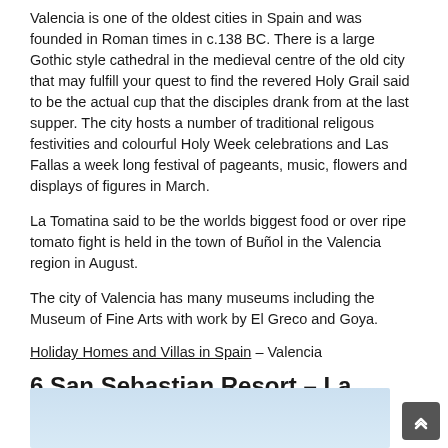Valencia is one of the oldest cities in Spain and was founded in Roman times in c.138 BC. There is a large Gothic style cathedral in the medieval centre of the old city that may fulfill your quest to find the revered Holy Grail said to be the actual cup that the disciples drank from at the last supper. The city hosts a number of traditional religous festivities and colourful Holy Week celebrations and Las Fallas a week long festival of pageants, music, flowers and displays of figures in March.
La Tomatina said to be the worlds biggest food or over ripe tomato fight is held in the town of Buñol in the Valencia region in August.
The city of Valencia has many museums including the Museum of Fine Arts with work by El Greco and Goya.
Holiday Homes and Villas in Spain – Valencia
6 San Sebastian Resort – La Concha
[Figure (photo): Partial view of a coastal/resort image, light blue tones, bottom of page]